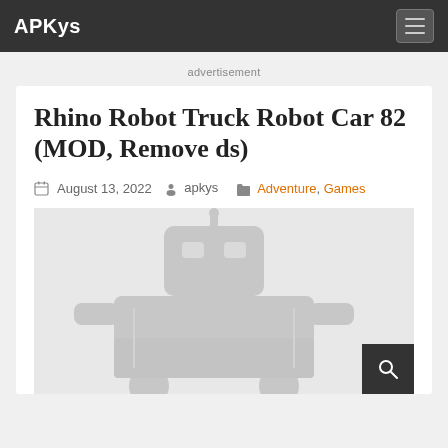APKys
advertisement
Rhino Robot Truck Robot Car 82 (MOD, Remove ds)
August 13, 2022  apkys  Adventure, Games
[Figure (photo): Faded watermark-style game screenshot showing robot truck/car imagery with a dark thumbnail box in the bottom right corner]